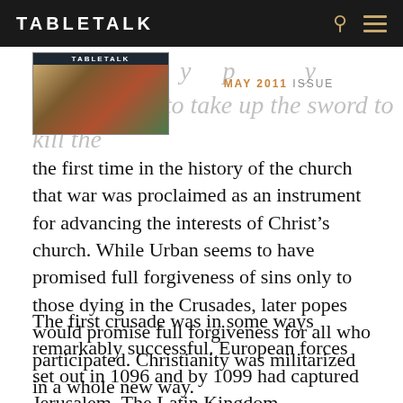TABLETALK
[Figure (other): Tabletalk magazine May 2011 issue cover thumbnail overlaid on faded background text]
the first time in the history of the church that war was proclaimed as an instrument for advancing the interests of Christ’s church. While Urban seems to have promised full forgiveness of sins only to those dying in the Crusades, later popes would promise full forgiveness for all who participated. Christianity was militarized in a whole new way.
The first crusade was in some ways remarkably successful. European forces set out in 1096 and by 1099 had captured Jerusalem. The Latin Kingdom